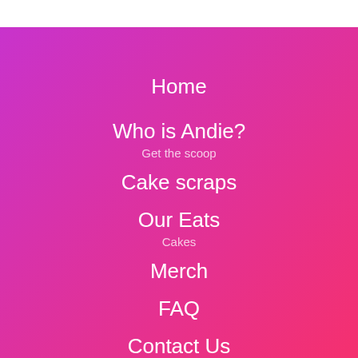Home
Who is Andie?
Get the scoop
Cake scraps
Our Eats
Cakes
Merch
FAQ
Contact Us